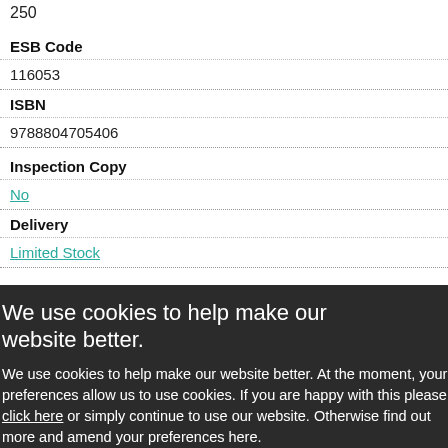250
ESB Code
116053
ISBN
9788804705406
Inspection Copy
No
Delivery
Limited Stock
We use cookies to help make our website better.
We use cookies to help make our website better. At the moment, your preferences allow us to use cookies. If you are happy with this please click here or simply continue to use our website. Otherwise find out more and amend your preferences here.